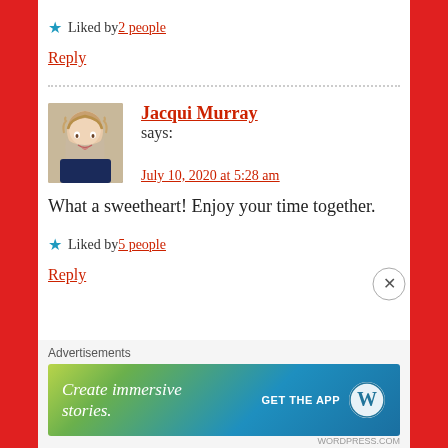★ Liked by 2 people
Reply
Jacqui Murray says: July 10, 2020 at 5:28 am
What a sweetheart! Enjoy your time together.
★ Liked by 5 people
Reply
[Figure (other): Advertisement banner: WordPress ad with text 'Create immersive stories.' and 'GET THE APP' with WordPress logo]
Advertisements